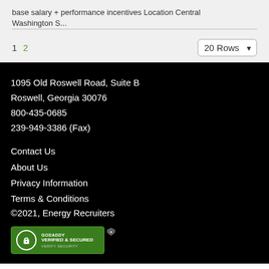base salary + performance incentives Location Central Washington S...
1  2
1095 Old Roswell Road, Suite B
Roswell, Georgia 30076
800-435-0685
239-949-3386 (Fax)
Contact Us
About Us
Privacy Information
Terms & Conditions
©2021, Energy Recruiters
[Figure (logo): GoDaddy Verified & Secured badge with lock icon and 'Verify Security' text]